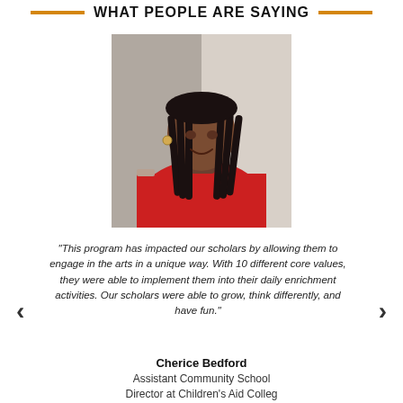WHAT PEOPLE ARE SAYING
[Figure (photo): Portrait photo of a woman with long box braids wearing a red top, smiling at the camera]
"This program has impacted our scholars by allowing them to engage in the arts in a unique way. With 10 different core values, they were able to implement them into their daily enrichment activities. Our scholars were able to grow, think differently, and have fun."
Cherice Bedford
Assistant Community School Director at Children's Aid College